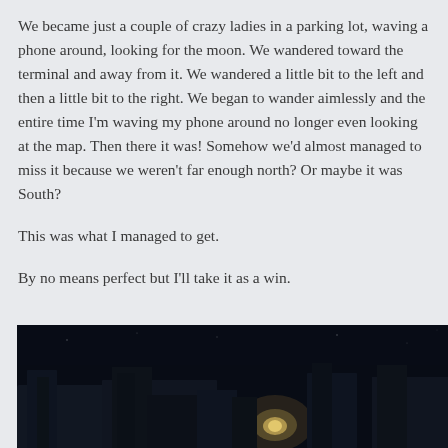We became just a couple of crazy ladies in a parking lot, waving a phone around, looking for the moon. We wandered toward the terminal and away from it. We wandered a little bit to the left and then a little bit to the right. We began to wander aimlessly and the entire time I'm waving my phone around no longer even looking at the map. Then there it was! Somehow we'd almost managed to miss it because we weren't far enough north? Or maybe it was South?
This was what I managed to get.
By no means perfect but I'll take it as a win.
[Figure (photo): A dark nighttime photo showing what appears to be the moon partially visible, with dark silhouetted shapes in the foreground against a very dark navy/black sky background.]